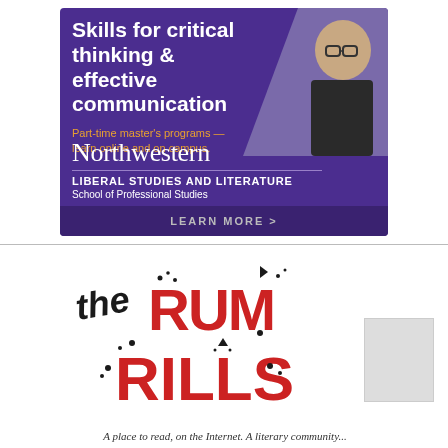[Figure (illustration): Northwestern University advertisement banner with purple background. Large white bold text reads 'Skills for critical thinking & effective communication'. Orange text reads 'Part-time master's programs — learn online and on campus.' Below, white serif text reads 'Northwestern' with a dividing line, then 'LIBERAL STUDIES AND LITERATURE' and 'School of Professional Studies'. A dark purple CTA bar at bottom reads 'LEARN MORE >'. A photo of a smiling young woman with glasses is in the upper right corner.]
[Figure (logo): Logo for 'the Rum Rills' — a literary community. The word 'the' is in a dark/black bubble letter style, and 'RUM RILLS' is in large bold red bubble letters with small decorative marks around them.]
A place to read, on the Internet. A literary community...